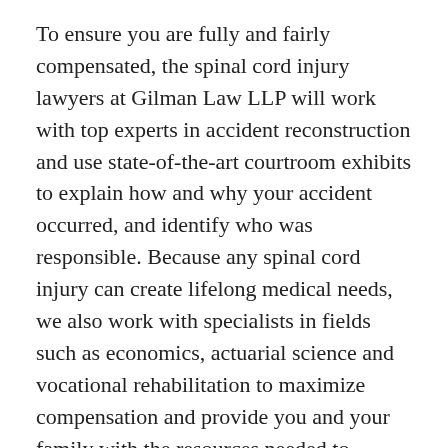To ensure you are fully and fairly compensated, the spinal cord injury lawyers at Gilman Law LLP will work with top experts in accident reconstruction and use state-of-the-art courtroom exhibits to explain how and why your accident occurred, and identify who was responsible. Because any spinal cord injury can create lifelong medical needs, we also work with specialists in fields such as economics, actuarial science and vocational rehabilitation to maximize compensation and provide you and your family with the resources needed to rebuild your life and live it to the fullest.
If you or someone you care about suffered a serious spinal cord injury in a negligent accident, it's important to call our Florida personal injury lawyers